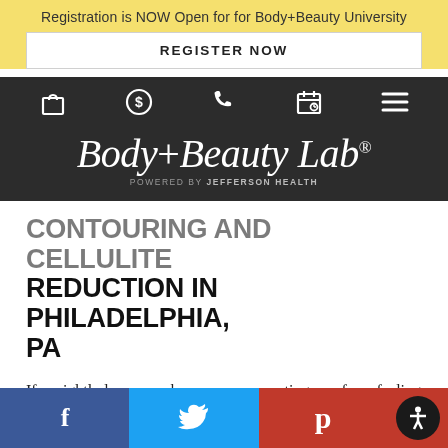Registration is NOW Open for for Body+Beauty University
REGISTER NOW
[Figure (screenshot): Navigation bar with icons: shopping bag, dollar sign, phone, calendar, hamburger menu on dark background]
[Figure (logo): Body+Beauty Lab logo with 'Powered by Jefferson Health' subtitle on dark background]
CONTOURING AND CELLULITE REDUCTION IN PHILADELPHIA, PA
If unsightly lumps are bumps are preventing you from feeling comfortable in your own skin, you may be a candidate for nonsurgical cellulite reduction with VelaShape III. For more information on this
Social share bar: Facebook, Twitter, Pinterest, Accessibility